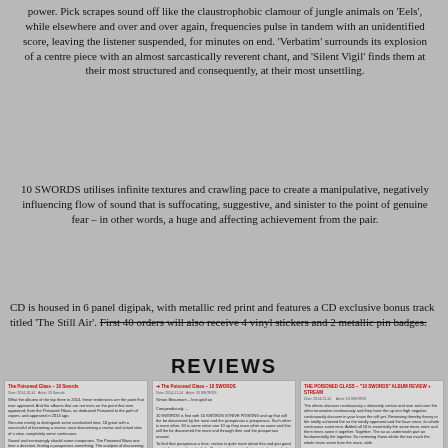power. Pick scrapes sound off like the claustrophobic clamour of jungle animals on 'Eels', while elsewhere and over and over again, frequencies pulse in tandem with an unidentified score, leaving the listener suspended, for minutes on end. 'Verbatim' surrounds its explosion of a centre piece with an almost sarcastically reverent chant, and 'Silent Vigil' finds them at their most structured and consequently, at their most unsettling.
10 SWORDS utilises infinite textures and crawling pace to create a manipulative, negatively influencing flow of sound that is suffocating, suggestive, and sinister to the point of genuine fear – in other words, a huge and affecting achievement from the pair.
CD is housed in 6 panel digipak, with metallic red print and features a CD exclusive bonus track titled 'The Still Air'. First 40 orders will also receive 4 vinyl stickers and 2 metallic pin badges.
REVIEWS
[Figure (screenshot): Three review article thumbnails shown side by side: The Poisoned Glass - 10 Swords reviews]